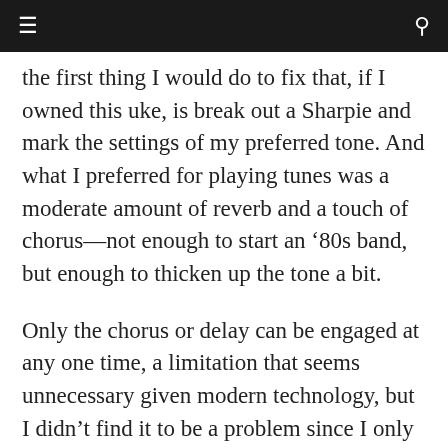≡  🔍
the first thing I would do to fix that, if I owned this uke, is break out a Sharpie and mark the settings of my preferred tone. And what I preferred for playing tunes was a moderate amount of reverb and a touch of chorus—not enough to start an ‘ 80s band, but enough to thicken up the tone a bit.
Only the chorus or delay can be engaged at any one time, a limitation that seems unnecessary given modern technology, but I didn’t find it to be a problem since I only found the delay useful for sound effects. On